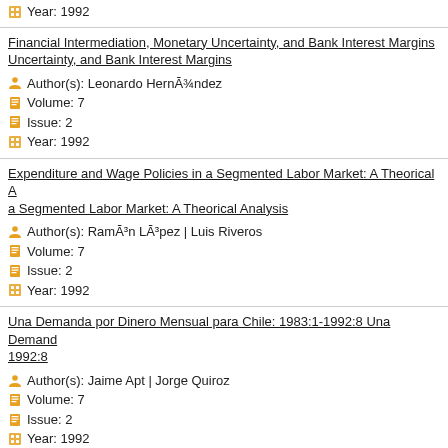Year: 1992
Financial Intermediation, Monetary Uncertainty, and Bank Interest Margins
Author(s): Leonardo Hernández
Volume: 7
Issue: 2
Year: 1992
Expenditure and Wage Policies in a Segmented Labor Market: A Theorical Analysis
Author(s): Ramón López | Luis Riveros
Volume: 7
Issue: 2
Year: 1992
Una Demanda por Dinero Mensual para Chile: 1983:1-1992:8
Author(s): Jaime Apt | Jorge Quiroz
Volume: 7
Issue: 2
Year: 1992
Economic Growth and Income Distribution in Chile: Macroeconomic Trade-Offs Revisited
Author(s): Andrés Solimano
Volume: 7